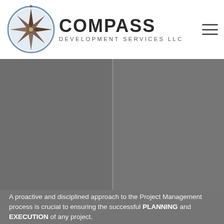[Figure (logo): Compass Development Services LLC logo with compass rose graphic and wordmark]
[Figure (photo): Two dark gray/charcoal photo panels side by side, separated by a thin vertical divider, showing construction or project management imagery (obscured/dark)]
A proactive and disciplined approach to the Project Management process is crucial to ensuring the successful PLANNING and EXECUTION of any project.